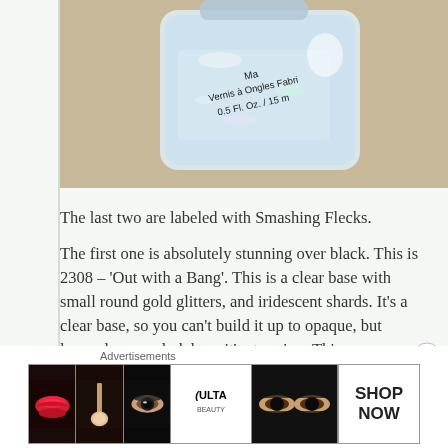[Figure (photo): Close-up photo of a nail polish bottle showing iridescent/glitter polish with label text reading 'Vernis à Ongles Fabric... 0.5 Fl. Oz. / 15 m...']
The last two are labeled with Smashing Flecks.
The first one is absolutely stunning over black. This is 2308 – 'Out with a Bang'. This is a clear base with small round gold glitters, and iridescent shards. It's a clear base, so you can't build it up to opaque, but layered over a dark base it's stunning. This was one coat, and it has fantastic coverage.
Advertisements
[Figure (photo): ULTA beauty advertisement banner showing makeup imagery including lips, brush, eye, ULTA logo, and eyes with a SHOP NOW button]